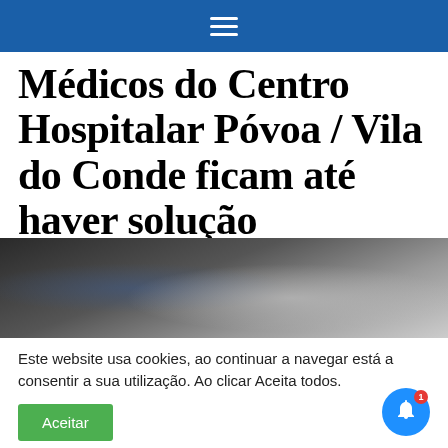Navigation bar with hamburger menu
Médicos do Centro Hospitalar Póvoa / Vila do Conde ficam até haver solução
[Figure (photo): Blurred close-up photo of medical/hospital equipment in dark tones]
Este website usa cookies, ao continuar a navegar está a consentir a sua utilização. Ao clicar Aceita todos.
Aceitar